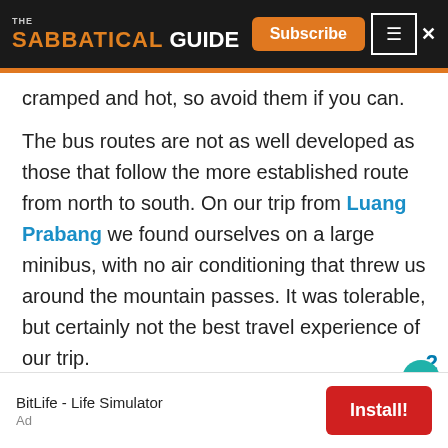THE SABBATICAL GUIDE — Subscribe
cramped and hot, so avoid them if you can.
The bus routes are not as well developed as those that follow the more established route from north to south. On our trip from Luang Prabang we found ourselves on a large minibus, with no air conditioning that threw us around the mountain passes. It was tolerable, but certainly not the best travel experience of our trip.
[Figure (other): Advertisement banner: BitLife - Life Simulator with Install button]